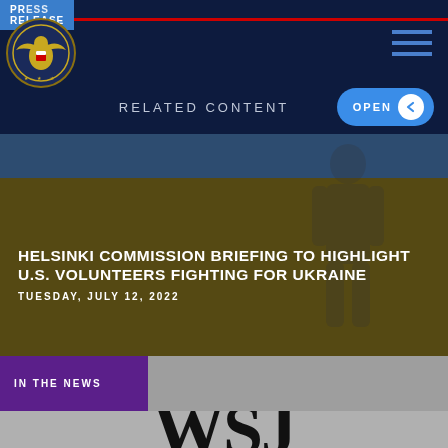PRESS RELEASE
[Figure (logo): Commission on Security and Cooperation in Europe seal/logo — gold eagle emblem on dark navy background]
RELATED CONTENT
[Figure (photo): Ukrainian flag colors (blue and yellow/gold) background with a silhouette of a person, used as hero image background]
HELSINKI COMMISSION BRIEFING TO HIGHLIGHT U.S. VOLUNTEERS FIGHTING FOR UKRAINE
TUESDAY, JULY 12, 2022
IN THE NEWS
[Figure (logo): WSJ (Wall Street Journal) large serif letters logo partially visible]